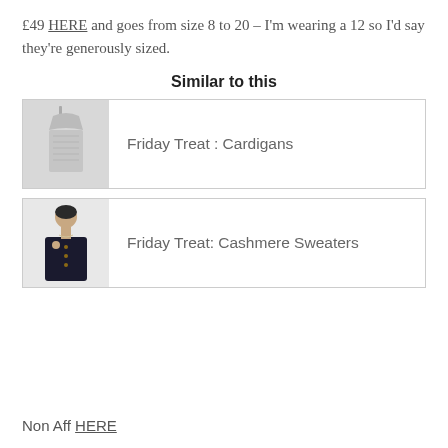£49 HERE and goes from size 8 to 20 – I'm wearing a 12 so I'd say they're generously sized.
Similar to this
[Figure (photo): Thumbnail image of light grey knitwear/cardigan on hanger against white background]
Friday Treat : Cardigans
[Figure (photo): Thumbnail image of woman wearing dark navy cardigan with buttons]
Friday Treat: Cashmere Sweaters
Non Aff HERE